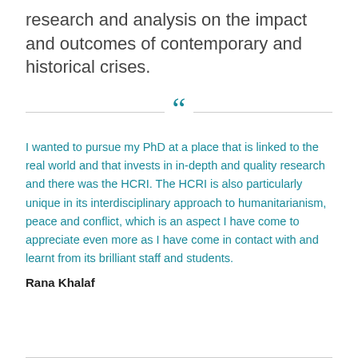research and analysis on the impact and outcomes of contemporary and historical crises.
I wanted to pursue my PhD at a place that is linked to the real world and that invests in in-depth and quality research and there was the HCRI. The HCRI is also particularly unique in its interdisciplinary approach to humanitarianism, peace and conflict, which is an aspect I have come to appreciate even more as I have come in contact with and learnt from its brilliant staff and students.
Rana Khalaf